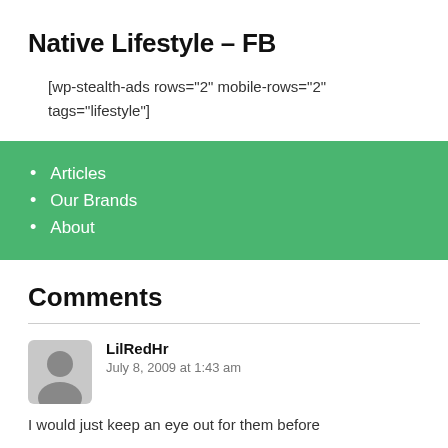Native Lifestyle – FB
[wp-stealth-ads rows="2" mobile-rows="2" tags="lifestyle"]
Articles
Our Brands
About
Comments
LilRedHr
July 8, 2009 at 1:43 am
I would just keep an eye out for them before